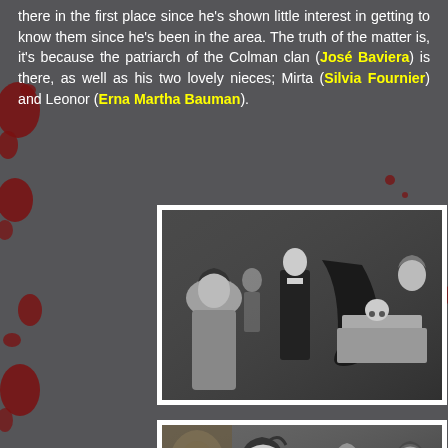there in the first place since he's shown little interest in getting to know them since he's been in the area. The truth of the matter is, it's because the patriarch of the Colman clan (José Baviera) is there, as well as his two lovely nieces; Mirta (Silvia Fournier) and Leonor (Erna Martha Bauman).
[Figure (photo): Black and white film still showing people in a dark room, a woman in an evening dress on the left, a man in a tuxedo in the background, and another figure bending over what appears to be a coffin or altar with a skull visible.]
[Figure (photo): Black and white film still showing a woman with dark upswept hair in the foreground looking to the side, with other figures visible in the background in what appears to be a room with decorative elements.]